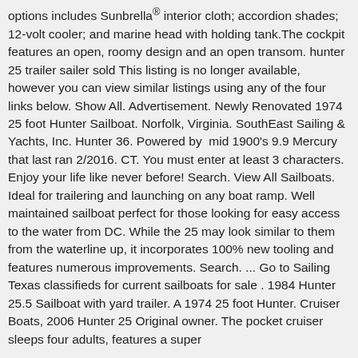options includes Sunbrella® interior cloth; accordion shades; 12-volt cooler; and marine head with holding tank.The cockpit features an open, roomy design and an open transom. hunter 25 trailer sailer sold This listing is no longer available, however you can view similar listings using any of the four links below. Show All. Advertisement. Newly Renovated 1974 25 foot Hunter Sailboat. Norfolk, Virginia. SouthEast Sailing & Yachts, Inc. Hunter 36. Powered by  mid 1900's 9.9 Mercury that last ran 2/2016. CT. You must enter at least 3 characters. Enjoy your life like never before! Search. View All Sailboats. Ideal for trailering and launching on any boat ramp. Well maintained sailboat perfect for those looking for easy access to the water from DC. While the 25 may look similar to them from the waterline up, it incorporates 100% new tooling and features numerous improvements. Search. ... Go to Sailing Texas classifieds for current sailboats for sale . 1984 Hunter 25.5 Sailboat with yard trailer. A 1974 25 foot Hunter. Cruiser Boats, 2006 Hunter 25 Original owner. The pocket cruiser sleeps four adults, features a super